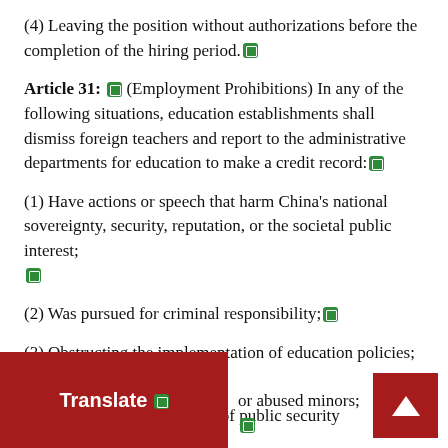(4) Leaving the position without authorizations before the completion of the hiring period.
Article 31: (Employment Prohibitions) In any of the following situations, education establishments shall dismiss foreign teachers and report to the administrative departments for education to make a credit record:
(1) Have actions or speech that harm China's national sovereignty, security, reputation, or the societal public interest;
(2) Was pursued for criminal responsibility;
(3) Obstructing the implementation of education policies;
(4) Had conduct in violation of public security management or abused minors;
Translate